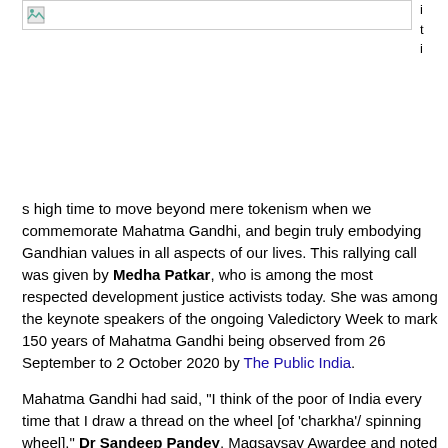[Figure (photo): Partially visible image thumbnail at top of page with broken image icon]
s high time to move beyond mere tokenism when we commemorate Mahatma Gandhi, and begin truly embodying Gandhian values in all aspects of our lives. This rallying call was given by Medha Patkar, who is among the most respected development justice activists today. She was among the keynote speakers of the ongoing Valedictory Week to mark 150 years of Mahatma Gandhi being observed from 26 September to 2 October 2020 by The Public India.
Mahatma Gandhi had said, "I think of the poor of India every time that I draw a thread on the wheel [of 'charkha'/ spinning wheel]." Dr Sandeep Pandey, Magsaysay Awardee and noted Gandhian leader is spinning the Charkha daily, even during this online event. He said that Gandhiji showed us a path of simplicity that would give us a different kind of prosperity which is essential for just and sustainable development. Gandhian economy is the real socialist, sustainable, and equity-based economy. When we want to address the problem of employment, we realize that it could only be through production by masses and not mass production. So,